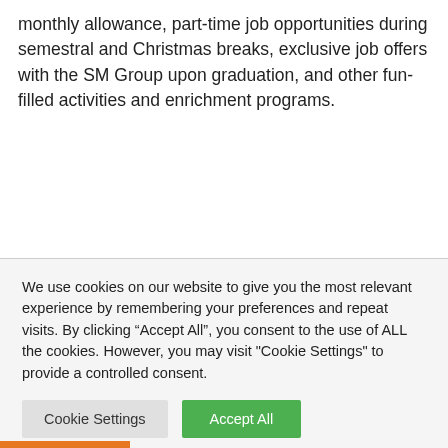monthly allowance, part-time job opportunities during semestral and Christmas breaks, exclusive job offers with the SM Group upon graduation, and other fun-filled activities and enrichment programs.
We use cookies on our website to give you the most relevant experience by remembering your preferences and repeat visits. By clicking “Accept All”, you consent to the use of ALL the cookies. However, you may visit "Cookie Settings" to provide a controlled consent.